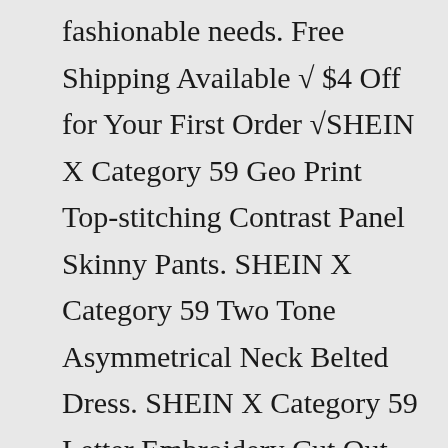fashionable needs. Free Shipping Available √ $4 Off for Your First Order √SHEIN X Category 59 Geo Print Top-stitching Contrast Panel Skinny Pants. SHEIN X Category 59 Two Tone Asymmetrical Neck Belted Dress. SHEIN X Category 59 Letter Embroidery Cut Out Zip Up Crop Tee. SHEIN X FURNANDA Cut Out Backless Ruched Bodycon Dress With Sleeve. SHEIN X FURNANDA Solid